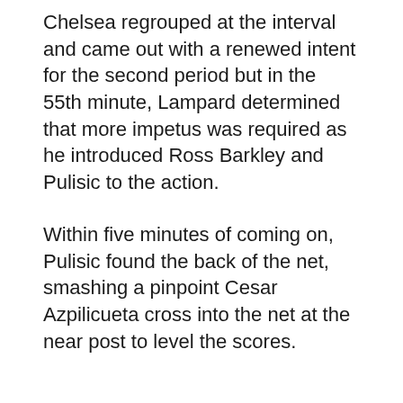Chelsea regrouped at the interval and came out with a renewed intent for the second period but in the 55th minute, Lampard determined that more impetus was required as he introduced Ross Barkley and Pulisic to the action.
Within five minutes of coming on, Pulisic found the back of the net, smashing a pinpoint Cesar Azpilicueta cross into the net at the near post to level the scores.